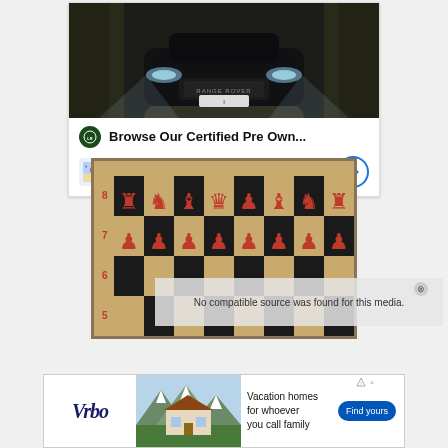[Figure (photo): Land Rover SUV advertisement card showing a dark Range Rover driving through a forest at night with headlights on, above dealer info for Don Beyer Volvo Cars of Dulles]
Browse Our Certified Pre Own...
Don Beyer Volvo Cars of Dulles
Dulles 9AM–7PM
[Figure (photo): Chess board showing red chess pieces on rows 7 and 8 against a black and tan checkered board, with row numbers 4-8 visible on the left]
No compatible source was found for this media.
[Figure (photo): Vrbo advertisement banner showing vacation homes in mountains, with text 'Vacation homes for whoever you call family' and 'Find yours' button]